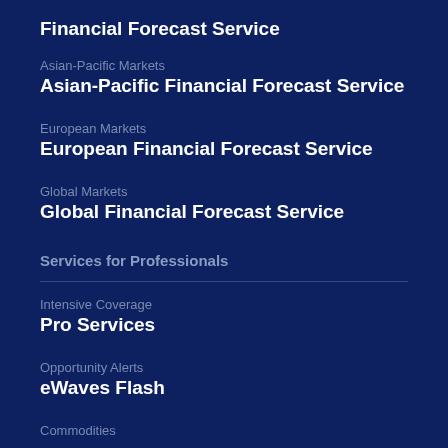Financial Forecast Service
Asian-Pacific Markets
Asian-Pacific Financial Forecast Service
European Markets
European Financial Forecast Service
Global Markets
Global Financial Forecast Service
Services for Professionals
Intensive Coverage
Pro Services
Opportunity Alerts
eWaves Flash